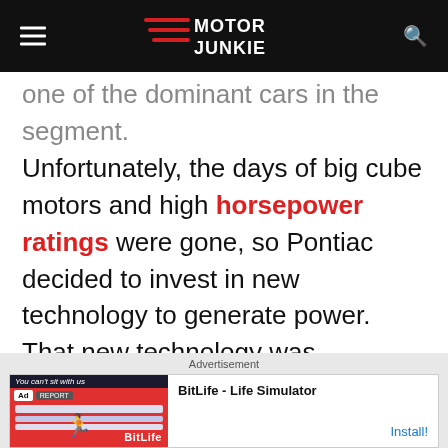[Figure (logo): Motor Junkie website header logo with hamburger menu icon on left and search icon on right, black background]
one of the dominant cars in the segment. Unfortunately, the days of big cube motors and high horsepower ratings were gone, so Pontiac decided to invest in new technology to generate power. That new technology was turbocharging, and in late 1979, it introduced the Trans Am Turbo (via Driving
[Figure (screenshot): Advertisement banner: BitLife - Life Simulator app ad with red background image on left and Install button on right]